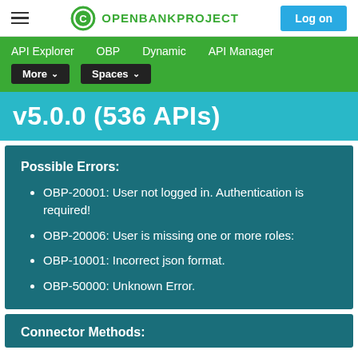Open Bank Project — v5.0.0 (536 APIs)
API Explorer   OBP   Dynamic   API Manager   More ▾   Spaces ▾
v5.0.0 (536 APIs)
Possible Errors:
OBP-20001: User not logged in. Authentication is required!
OBP-20006: User is missing one or more roles:
OBP-10001: Incorrect json format.
OBP-50000: Unknown Error.
Connector Methods: